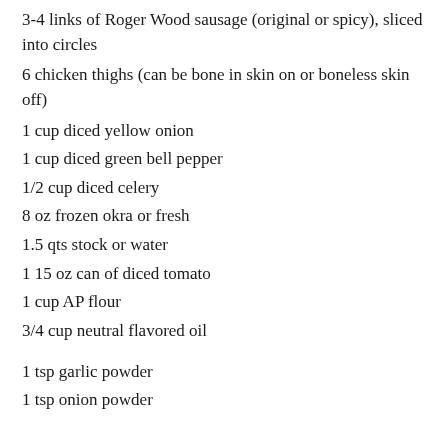3-4 links of Roger Wood sausage (original or spicy), sliced into circles
6 chicken thighs (can be bone in skin on or boneless skin off)
1 cup diced yellow onion
1 cup diced green bell pepper
1/2 cup diced celery
8 oz frozen okra or fresh
1.5 qts stock or water
1 15 oz can of diced tomato
1 cup AP flour
3/4 cup neutral flavored oil
1 tsp garlic powder
1 tsp onion powder